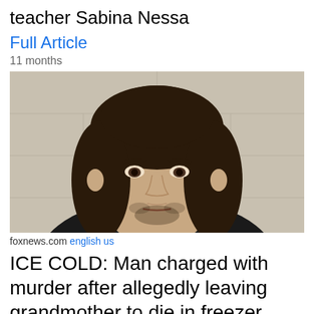teacher Sabina Nessa
Full Article
11 months
[Figure (photo): Mugshot of a young man with long dark hair and stubble, wearing a black shirt, photographed against a light concrete block wall background.]
foxnews.com english us
ICE COLD: Man charged with murder after allegedly leaving grandmother to die in freezer